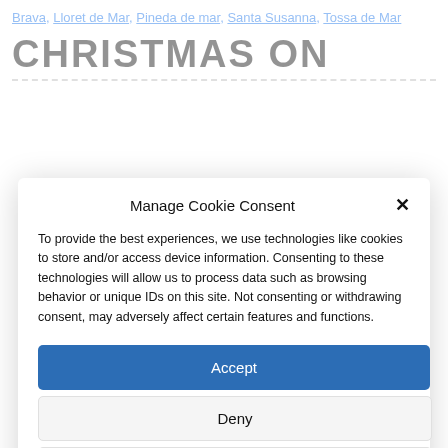Brava, Lloret de Mar, Pineda de mar, Santa Susanna, Tossa de Mar
CHRISTMAS ON
Manage Cookie Consent
To provide the best experiences, we use technologies like cookies to store and/or access device information. Consenting to these technologies will allow us to process data such as browsing behavior or unique IDs on this site. Not consenting or withdrawing consent, may adversely affect certain features and functions.
Accept
Deny
View preferences
Cookie Policy   CONDICIONES USO WEB